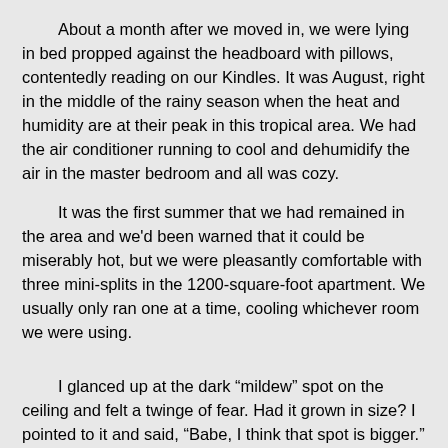About a month after we moved in, we were lying in bed propped against the headboard with pillows, contentedly reading on our Kindles. It was August, right in the middle of the rainy season when the heat and humidity are at their peak in this tropical area. We had the air conditioner running to cool and dehumidify the air in the master bedroom and all was cozy.
It was the first summer that we had remained in the area and we'd been warned that it could be miserably hot, but we were pleasantly comfortable with three mini-splits in the 1200-square-foot apartment. We usually only ran one at a time, cooling whichever room we were using.
I glanced up at the dark “mildew” spot on the ceiling and felt a twinge of fear. Had it grown in size? I pointed to it and said, “Babe, I think that spot is bigger.”
He didn’t think so, or didn’t want to believe it at the time. I took a photo of it including the corner of the air conditioner for perspective. I would continue to photograph that spot for several weeks as it turned from a little mildew to a definite